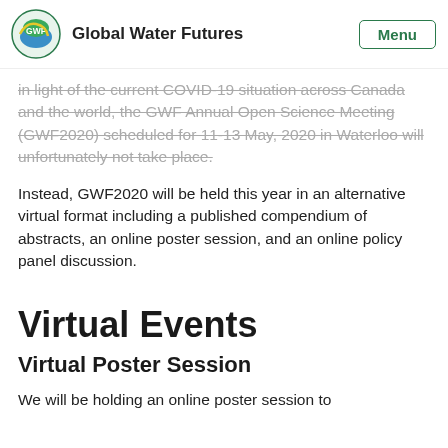Global Water Futures
in light of the current COVID-19 situation across Canada and the world, the GWF Annual Open Science Meeting (GWF2020) scheduled for 11-13 May, 2020 in Waterloo will unfortunately not take place.
Instead, GWF2020 will be held this year in an alternative virtual format including a published compendium of abstracts, an online poster session, and an online policy panel discussion.
Virtual Events
Virtual Poster Session
We will be holding an online poster session to